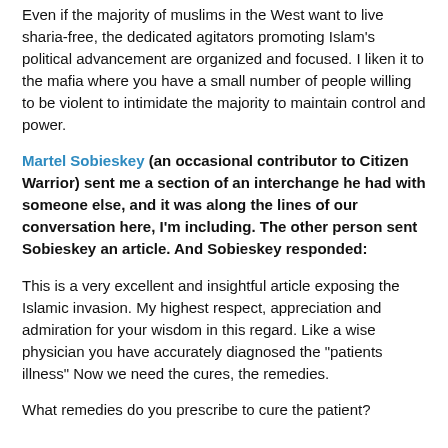Even if the majority of muslims in the West want to live sharia-free, the dedicated agitators promoting Islam's political advancement are organized and focused. I liken it to the mafia where you have a small number of people willing to be violent to intimidate the majority to maintain control and power.
Martel Sobieskey (an occasional contributor to Citizen Warrior) sent me a section of an interchange he had with someone else, and it was along the lines of our conversation here, I'm including. The other person sent Sobieskey an article. And Sobieskey responded:
This is a very excellent and insightful article exposing the Islamic invasion. My highest respect, appreciation and admiration for your wisdom in this regard. Like a wise physician you have accurately diagnosed the "patients illness" Now we need the cures, the remedies.
What remedies do you prescribe to cure the patient?